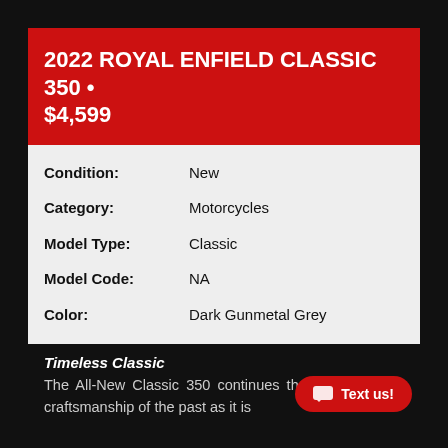2022 ROYAL ENFIELD CLASSIC 350 • $4,599
| Attribute | Value |
| --- | --- |
| Condition: | New |
| Category: | Motorcycles |
| Model Type: | Classic |
| Model Code: | NA |
| Color: | Dark Gunmetal Grey |
Timeless Classic
The All-New Classic 350 continues the traditions and craftsmanship of the past as it is